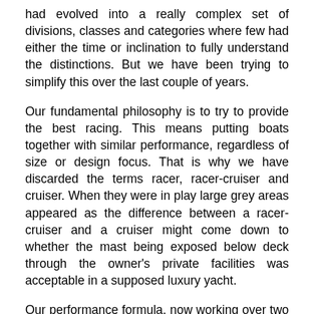had evolved into a really complex set of divisions, classes and categories where few had either the time or inclination to fully understand the distinctions. But we have been trying to simplify this over the last couple of years.
Our fundamental philosophy is to try to provide the best racing. This means putting boats together with similar performance, regardless of size or design focus. That is why we have discarded the terms racer, racer-cruiser and cruiser. When they were in play large grey areas appeared as the difference between a racer-cruiser and a cruiser might come down to whether the mast being exposed below deck through the owner's private facilities was acceptable in a supposed luxury yacht.
Our performance formula, now working over two seasons, has had further tweaks and we look forward to testing it further this year. Our other initiative which in 2020 suddenly became much more relevant was crew limitation...